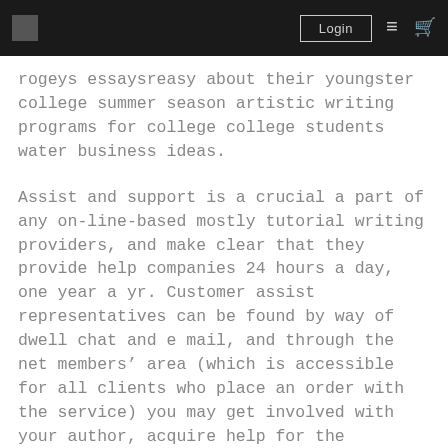Login
rogeys essaysreasy about their youngster college summer season artistic writing programs for college college students water business ideas.
Assist and support is a crucial a part of any on-line-based mostly tutorial writing providers, and make clear that they provide help companies 24 hours a day, one year a yr. Customer assist representatives can be found by way of dwell chat and e mail, and through the net members' area (which is accessible for all clients who place an order with the service) you may get involved with your author, acquire help for the ordering and delivery course of, monitor the status of your order and examine how issues are going, upload new information and additional content